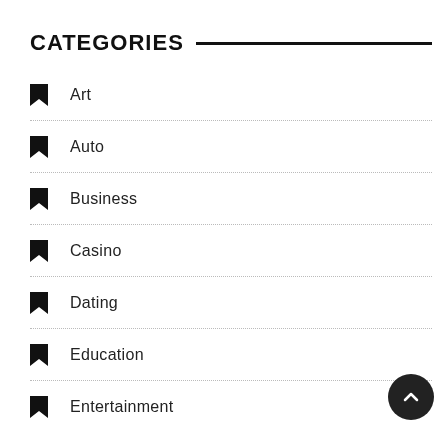CATEGORIES
Art
Auto
Business
Casino
Dating
Education
Entertainment